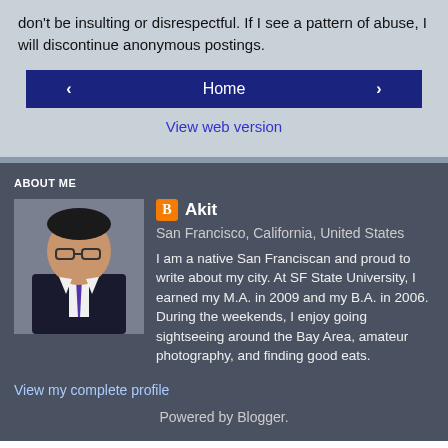don't be insulting or disrespectful. If I see a pattern of abuse, I will discontinue anonymous postings.
Home
View web version
ABOUT ME
[Figure (photo): Profile photo of Akit, a man in a dark suit with glasses]
Akit
San Francisco, California, United States
I am a native San Franciscan and proud to write about my city. At SF State University, I earned my M.A. in 2009 and my B.A. in 2006. During the weekends, I enjoy going sightseeing around the Bay Area, amateur photography, and finding good eats.
View my complete profile
Powered by Blogger.